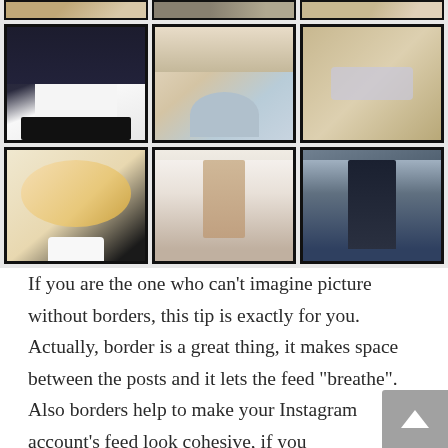[Figure (photo): A 3x3 grid of Instagram-style photos showing fashion and lifestyle images: outfit with blazer and handbag, cafe scene, metallic nails close-up (top row partially cropped), outfit with white shirt and blazer, woman at cafe with coffee, hand with silver/metallic rings and nail polish, food/croissant in hand, strappy heeled sandals close-up, man in dark long coat]
If you are the one who can’t imagine picture without borders, this tip is exactly for you. Actually, border is a great thing, it makes space between the posts and it lets the feed “breathe”. Also borders help to make your Instagram account’s feed look cohesive, if you